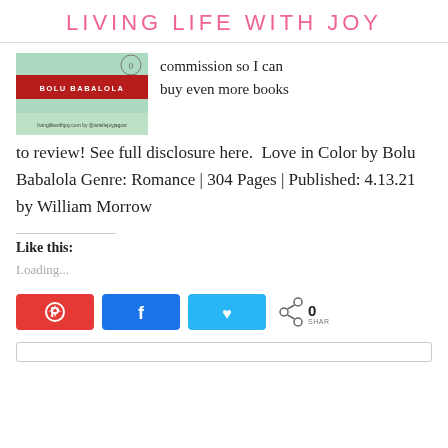LIVING LIFE WITH JOY
[Figure (photo): Book cover of 'Love in Color' by Bolu Babalola, with green background and red band, watermarked livinglifewithjoy.com by @ariellejoyjagow]
commission so I can buy even more books to review! See full disclosure here.  Love in Color by Bolu Babalola Genre: Romance | 304 Pages | Published: 4.13.21 by William Morrow
Like this:
Loading...
[Figure (infographic): Social share buttons: Pinterest (red), Facebook (blue), Twitter (light blue), and a share count showing 0 SHARES]